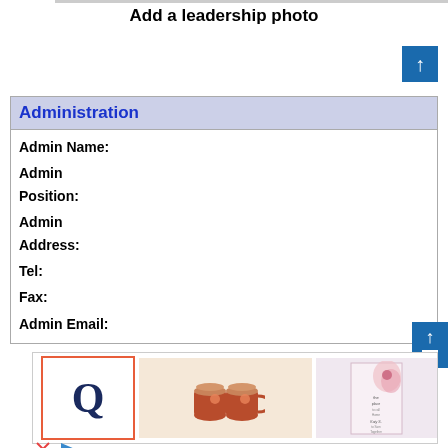Add a leadership photo
Administration
Admin Name:
Admin Position:
Admin Address:
Tel:
Fax:
Admin Email:
[Figure (photo): Advertisement banner with Quora logo (Q in red square), autumn pumpkin mugs, and floral card image]